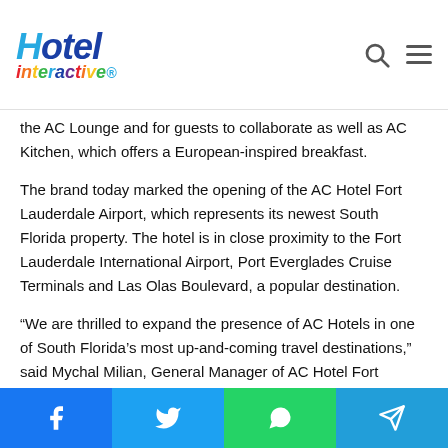Hotel interactive
the AC Lounge and for guests to collaborate as well as AC Kitchen, which offers a European-inspired breakfast.
The brand today marked the opening of the AC Hotel Fort Lauderdale Airport, which represents its newest South Florida property. The hotel is in close proximity to the Fort Lauderdale International Airport, Port Everglades Cruise Terminals and Las Olas Boulevard, a popular destination.
“We are thrilled to expand the presence of AC Hotels in one of South Florida’s most up-and-coming travel destinations,” said Mychal Milian, General Manager of AC Hotel Fort Lauderdale Airport. “Following an unprecedented year for the travel
Facebook | Twitter | WhatsApp | Telegram